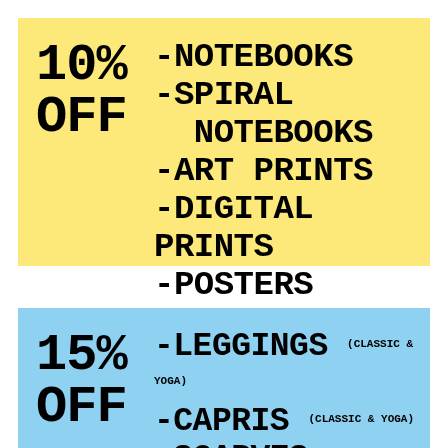[Figure (infographic): Yellow box with '10% OFF' on the left and a list of products: NOTEBOOKS, SPIRAL NOTEBOOKS, ART PRINTS, DIGITAL PRINTS, POSTERS]
[Figure (infographic): Blue box with '15% OFF' on the left and a list of products: LEGGINGS (CLASSIC & YOGA), CAPRIS (CLASSIC & YOGA), SCARVES (EXCLUDES SILK), SKIRTS (FITTED & FLARE)]